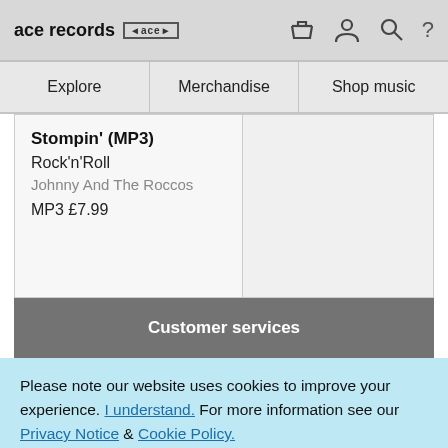ace records
Explore | Merchandise | Shop music
Stompin' (MP3)
Rock'n'Roll
Johnny And The Roccos
MP3 £7.99
Customer services
Please note our website uses cookies to improve your experience. I understand. For more information see our Privacy Notice & Cookie Policy.